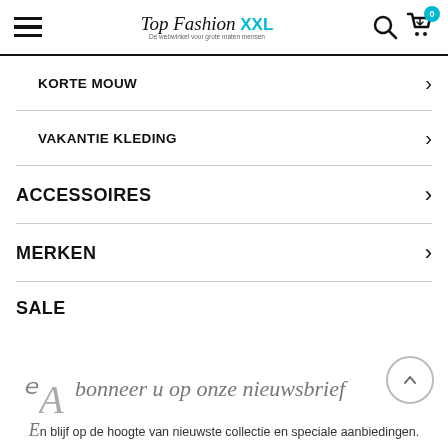Top Fashion XXL — De webwinkel voor grote maten mensen
KORTE MOUW
VAKANTIE KLEDING
ACCESSOIRES
MERKEN
SALE
Abonneer u op onze nieuwsbrief
En blijf op de hoogte van nieuwste collectie en speciale aanbiedingen.